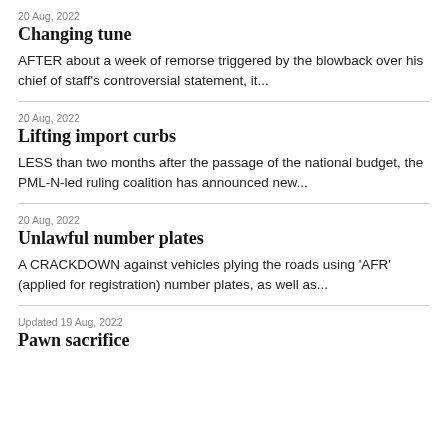20 Aug, 2022
Changing tune
AFTER about a week of remorse triggered by the blowback over his chief of staff’s controversial statement, it...
20 Aug, 2022
Lifting import curbs
LESS than two months after the passage of the national budget, the PML-N-led ruling coalition has announced new...
20 Aug, 2022
Unlawful number plates
A CRACKDOWN against vehicles plying the roads using ‘AFR’ (applied for registration) number plates, as well as...
Updated 19 Aug, 2022
Pawn sacrifice